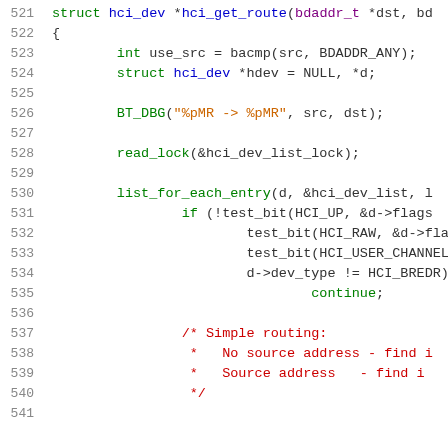[Figure (screenshot): Source code listing showing lines 521-541 of a C function hci_get_route with syntax highlighting. Line numbers in grey on left, code in various colors (green for keywords/macros, blue for function names, orange for strings, red for comments, dark for identifiers).]